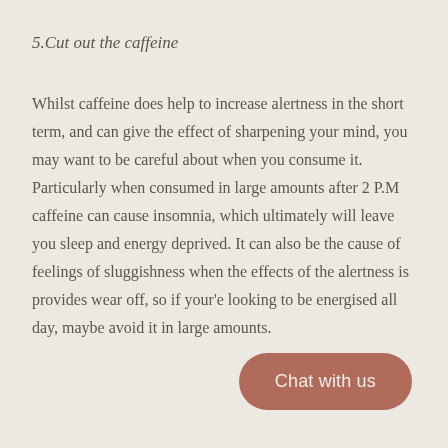5.Cut out the caffeine
Whilst caffeine does help to increase alertness in the short term, and can give the effect of sharpening your mind, you may want to be careful about when you consume it. Particularly when consumed in large amounts after 2 P.M caffeine can cause insomnia, which ultimately will leave you sleep and energy deprived. It can also be the cause of feelings of sluggishness when the effects of the alertness is provides wear off, so if your'e looking to be energised all day, maybe avoid it in large amounts.
Chat with us